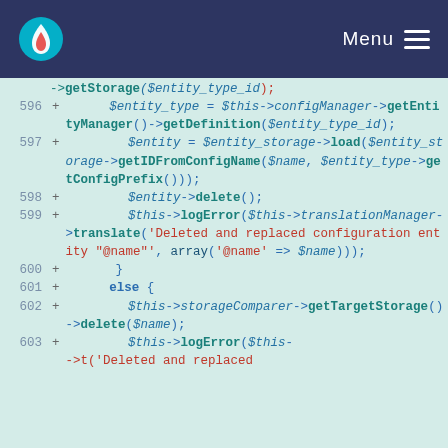Menu
[Figure (screenshot): Code diff view showing PHP code lines 596–603 with line numbers and + markers on a light teal background. Lines show entity storage, config manager, entity manager, getDefinition, entity storage load, getIDFromConfigName, getConfigPrefix, entity delete, logError, translationManager, translate calls with string 'Deleted and replaced configuration entity "@name"', array('@name' => $name), closing brace, else block, storageComparer getTargetStorage delete, and another logError call.]